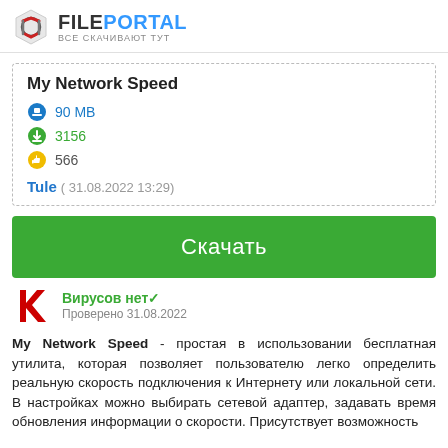FILEPORTAL — ВСЕ СКАЧИВАЮТ ТУТ
My Network Speed
90 MB
3156
566
Tule  ( 31.08.2022 13:29)
Скачать
Вирусов нет✓
Проверено 31.08.2022
My Network Speed - простая в использовании бесплатная утилита, которая позволяет пользователю легко определить реальную скорость подключения к Интернету или локальной сети. В настройках можно выбирать сетевой адаптер, задавать время обновления информации о скорости. Присутствует возможность